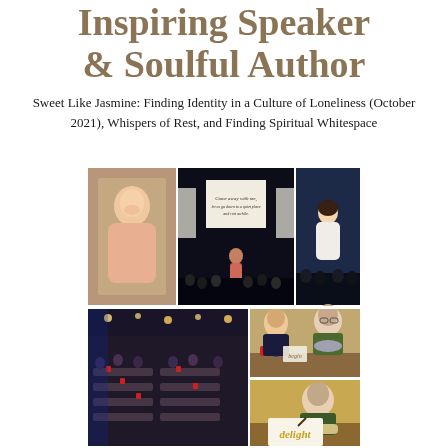Inspiring Speaker & Soulful Author
Sweet Like Jasmine: Finding Identity in a Culture of Loneliness (October 2021), Whispers of Rest, and Finding Spiritual Whitespace
[Figure (photo): A collage of six photos showing a female speaker and author at various events: a portrait of an Asian woman smiling in a pink dress, a stage presentation with a projection screen reading 'Come away with me', a woman in white speaking on stage, a large conference hall with many attendees seated at tables, two people examining materials at a table, and a woman writing the word 'delight'.]